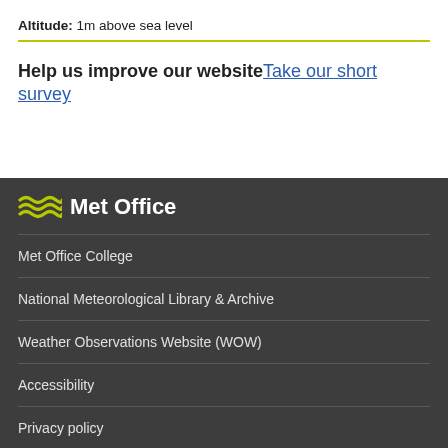Altitude: 1m above sea level
Help us improve our website Take our short survey
Met Office
Met Office College
National Meteorological Library & Archive
Weather Observations Website (WOW)
Accessibility
Privacy policy
Cookie policy
Legal
Email updates